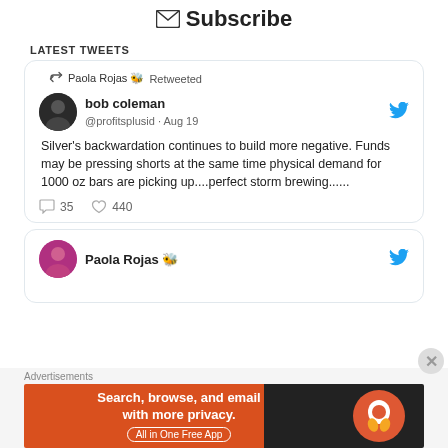✉ Subscribe
LATEST TWEETS
[Figure (screenshot): Twitter/X embedded tweet card: Paola Rojas 🐝 Retweeted — bob coleman @profitsplusid · Aug 19 — 'Silver's backwardation continues to build more negative. Funds may be pressing shorts at the same time physical demand for 1000 oz bars are picking up....perfect storm brewing......' — 35 replies, 440 likes]
[Figure (screenshot): Partial tweet card showing Paola Rojas 🐝 profile photo and name]
Advertisements
[Figure (other): DuckDuckGo advertisement banner: 'Search, browse, and email with more privacy. All in One Free App' with DuckDuckGo logo on dark background]